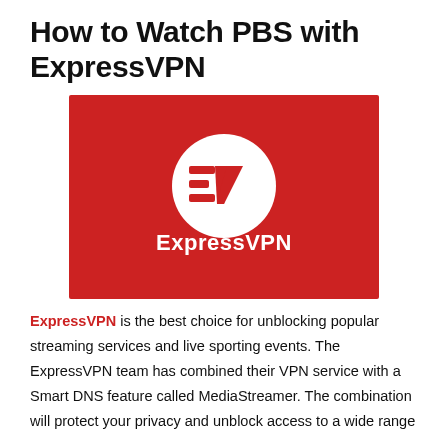How to Watch PBS with ExpressVPN
[Figure (logo): ExpressVPN logo on red background — white circle with EV monogram icon and 'ExpressVPN' wordmark in white text below]
ExpressVPN is the best choice for unblocking popular streaming services and live sporting events. The ExpressVPN team has combined their VPN service with a Smart DNS feature called MediaStreamer. The combination will protect your privacy and unblock access to a wide range